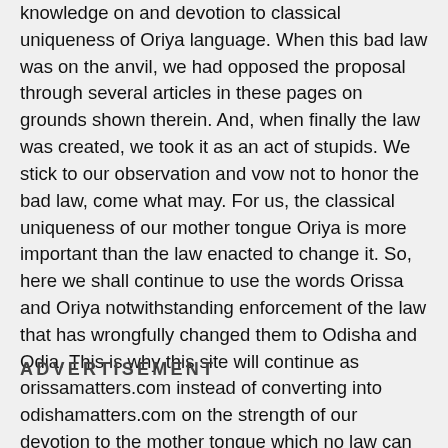knowledge on and devotion to classical uniqueness of Oriya language. When this bad law was on the anvil, we had opposed the proposal through several articles in these pages on grounds shown therein. And, when finally the law was created, we took it as an act of stupids. We stick to our observation and vow not to honor the bad law, come what may. For us, the classical uniqueness of our mother tongue Oriya is more important than the law enacted to change it. So, here we shall continue to use the words Orissa and Oriya notwithstanding enforcement of the law that has wrongfully changed them to Odisha and Odia. This is why this site will continue as orissamatters.com instead of converting into odishamatters.com on the strength of our devotion to the mother tongue which no law can change. -Editor
ADVERTISEMENT